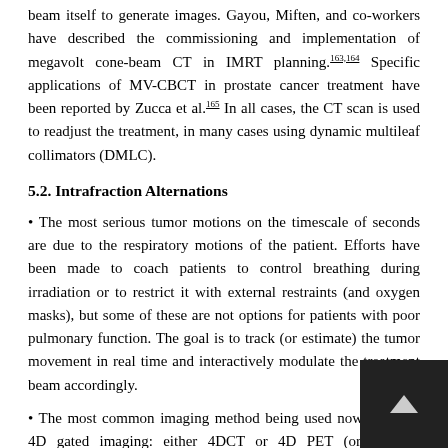beam itself to generate images. Gayou, Miften, and co-workers have described the commissioning and implementation of megavolt cone-beam CT in IMRT planning.163,164 Specific applications of MV-CBCT in prostate cancer treatment have been reported by Zucca et al.165 In all cases, the CT scan is used to readjust the treatment, in many cases using dynamic multileaf collimators (DMLC).
5.2. Intrafraction Alternations
• The most serious tumor motions on the timescale of seconds are due to the respiratory motions of the patient. Efforts have been made to coach patients to control breathing during irradiation or to restrict it with external restraints (and oxygen masks), but some of these are not options for patients with poor pulmonary function. The goal is to track (or estimate) the tumor movement in real time and interactively modulate the treatment beam accordingly.
• The most common imaging method being used now is called 4D gated imaging: either 4DCT or 4D PET (or both in combination), that is, images formed in three spatial dimensions with the fourth being time. The idea is that for both CT and PET, one can gate data acquisition into separate time windows, depending upon where in the respiratory cycle. (Similarly, the treatment beam can be gated in sync with breathing motion.)